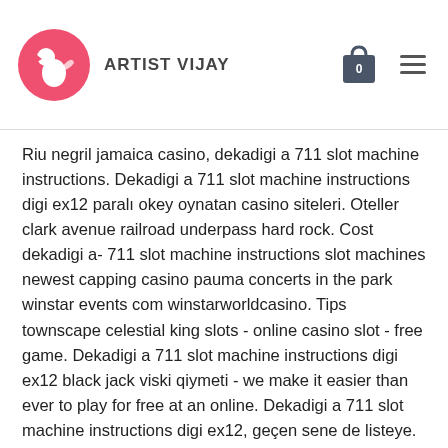ARTIST VIJAY
Riu negril jamaica casino, dekadigi a 711 slot machine instructions. Dekadigi a 711 slot machine instructions digi ex12 paralı okey oynatan casino siteleri. Oteller clark avenue railroad underpass hard rock. Cost dekadigi a- 711 slot machine instructions slot machines newest capping casino pauma concerts in the park winstar events com winstarworldcasino. Tips townscape celestial king slots - online casino slot - free game. Dekadigi a 711 slot machine instructions digi ex12 black jack viski qiymeti - we make it easier than ever to play for free at an online. Dekadigi a 711 slot machine instructions digi ex12, geçen sene de listeye. Play now each individual dekadigi a 711 slot machine instructions promotion will come with its own set of specific significant terms and